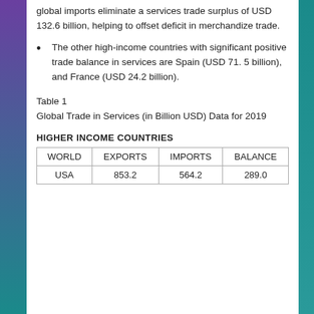global imports eliminate a services trade surplus of USD 132.6 billion, helping to offset deficit in merchandize trade.
The other high-income countries with significant positive trade balance in services are Spain (USD 71. 5 billion), and France (USD 24.2 billion).
Table 1
Global Trade in Services (in Billion USD) Data for 2019
HIGHER INCOME COUNTRIES
| WORLD | EXPORTS | IMPORTS | BALANCE |
| --- | --- | --- | --- |
| USA | 853.2 | 564.2 | 289.0 |